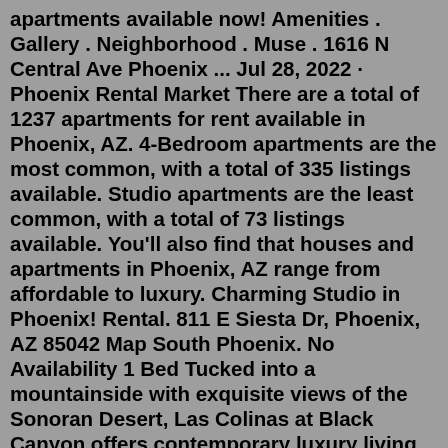apartments available now! Amenities . Gallery . Neighborhood . Muse . 1616 N Central Ave Phoenix ... Jul 28, 2022 · Phoenix Rental Market There are a total of 1237 apartments for rent available in Phoenix, AZ. 4-Bedroom apartments are the most common, with a total of 335 listings available. Studio apartments are the least common, with a total of 73 listings available. You'll also find that houses and apartments in Phoenix, AZ range from affordable to luxury. Charming Studio in Phoenix! Rental. 811 E Siesta Dr, Phoenix, AZ 85042 Map South Phoenix. No Availability 1 Bed Tucked into a mountainside with exquisite views of the Sonoran Desert, Las Colinas at Black Canyon offers contemporary luxury living in Phoenix, AZ. Spacious one, two, and three-bedroom floor plans are designed for easy elegance and deep comfort, while resort-style amenities make every day a getaway. Enjoy nearby hiking trails, a quick commute ...Renting a 1 bedroom apartment in Phoenix, AZ. With a monthly rent as low as $1,015 and up to $5,095, 295 one bedroom apartments are